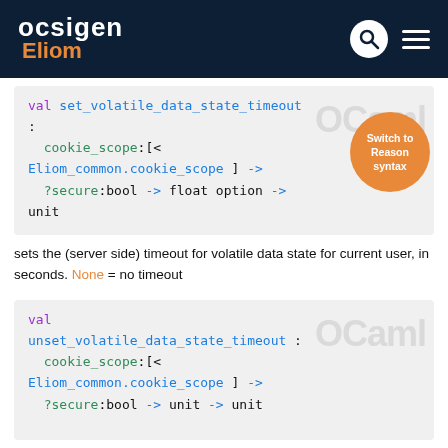ocsigen Eliom
[Figure (screenshot): Code block showing: val set_volatile_data_state_timeout : cookie_scope:[< Eliom_common.cookie_scope ] -> ?secure:bool -> float option -> unit. With OCaml watermark and Switch to Reason syntax button.]
sets the (server side) timeout for volatile data state for current user, in seconds. None = no timeout
[Figure (screenshot): Code block showing: val unset_volatile_data_state_timeout : cookie_scope:[< Eliom_common.cookie_scope ] -> ?secure:bool -> unit -> unit. With OCaml watermark.]